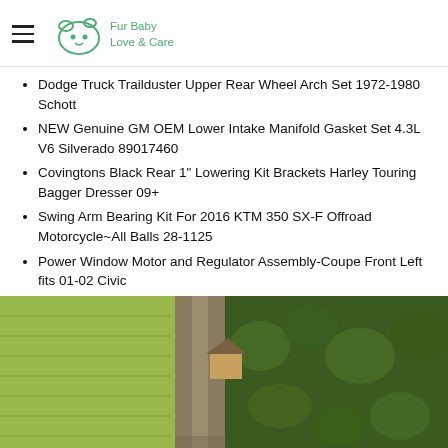Fur Baby Love & Care
Dodge Truck Trailduster Upper Rear Wheel Arch Set 1972-1980 Schott
NEW Genuine GM OEM Lower Intake Manifold Gasket Set 4.3L V6 Silverado 89017460
Covingtons Black Rear 1" Lowering Kit Brackets Harley Touring Bagger Dresser 09+
Swing Arm Bearing Kit For 2016 KTM 350 SX-F Offroad Motorcycle~All Balls 28-1125
Power Window Motor and Regulator Assembly-Coupe Front Left fits 01-02 Civic
[Figure (photo): Aerial view of a rural road cutting through green fields and trees, with a small structure visible near the road]